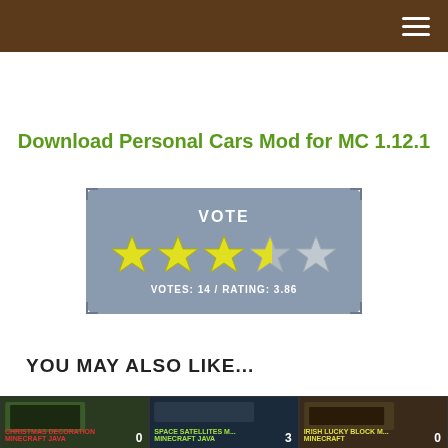Download Personal Cars Mod for MC 1.12.1
[Figure (other): Interactive star rating widget showing VOTE label, 3.5 filled yellow stars and 1 gray star, with text VOTES: 14 / RATING: 3.86]
YOU MAY ALSO LIKE...
[Figure (photo): Thumbnail for Christmas Decoration Minecraft mod with count 0]
[Figure (photo): Thumbnail for Space Satellites Minecraft mod with count 3]
[Figure (photo): Thumbnail for Irish Lucky Block Minecraft mod with count 0]